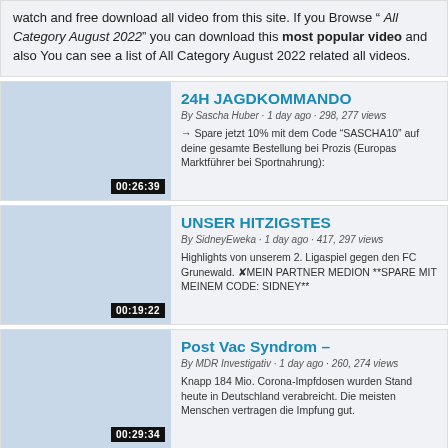watch and free download all video from this site. If you Browse " All Category August 2022" you can download this most popular video and also You can see a list of All Category August 2022 related all videos.
[Figure (screenshot): Video thumbnail for 24H JAGDKOMMANDO with duration 00:26:39]
24H JAGDKOMMANDO | By Sascha Huber · 1 day ago · 298, 277 views | → Spare jetzt 10% mit dem Code "SASCHA10" auf deine gesamte Bestellung bei Prozis (Europas Marktführer bei Sportnahrung):
[Figure (screenshot): Video thumbnail for UNSER HITZIGSTES with duration 00:19:22]
UNSER HITZIGSTES | By SidneyEweka · 1 day ago · 417, 297 views | Highlights von unserem 2. Ligaspiel gegen den FC Grunewald. ✘MEIN PARTNER MEDION **SPARE MIT MEINEM CODE: SIDNEY**
[Figure (screenshot): Video thumbnail for Post Vac Syndrom with duration 00:29:34]
Post Vac Syndrom – | By MDR Investigativ · 1 day ago · 260, 274 views | Knapp 184 Mio. Corona-Impfdosen wurden Stand heute in Deutschland verabreicht. Die meisten Menschen vertragen die Impfung gut.